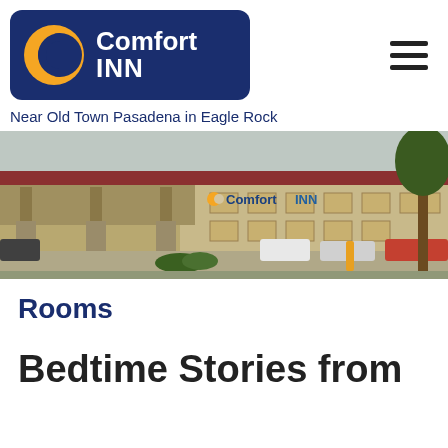[Figure (logo): Comfort INN logo on dark navy blue rounded rectangle background with orange C swoosh icon, white text reading Comfort INN]
Near Old Town Pasadena in Eagle Rock
[Figure (photo): Exterior photo of Comfort Inn hotel building with parking lot, cars, and trees visible. The hotel sign reads Comfort INN on the facade.]
Rooms
Bedtime Stories from